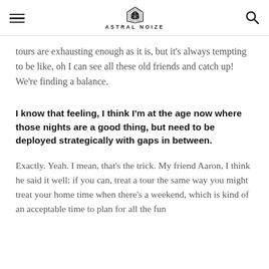ASTRAL NOIZE
tours are exhausting enough as it is, but it's always tempting to be like, oh I can see all these old friends and catch up! We're finding a balance.
I know that feeling, I think I'm at the age now where those nights are a good thing, but need to be deployed strategically with gaps in between.
Exactly. Yeah. I mean, that's the trick. My friend Aaron, I think he said it well: if you can, treat a tour the same way you might treat your home time when there's a weekend, which is kind of an acceptable time to plan for all the fun